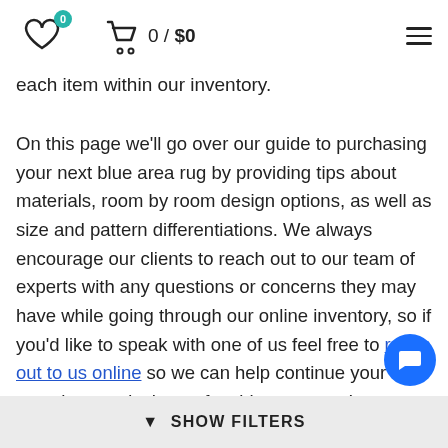0 / $0 navigation header with heart icon, cart, and hamburger menu
each item within our inventory.
On this page we'll go over our guide to purchasing your next blue area rug by providing tips about materials, room by room design options, as well as size and pattern differentiations. We always encourage our clients to reach out to our team of experts with any questions or concerns they may have while going through our online inventory, so if you'd like to speak with one of us feel free to reach out to us online so we can help continue your search towards the perfect blue area rug!
▼ SHOW FILTERS